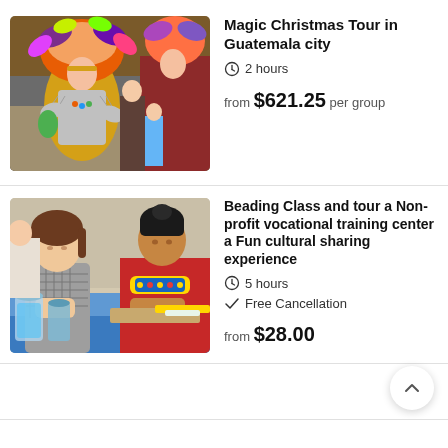[Figure (photo): Colorful festival performers in elaborate traditional costumes with feathers and decorations at a Christmas parade in Guatemala city]
Magic Christmas Tour in Guatemala city
2 hours
from $621.25 per group
[Figure (photo): Women doing beadwork at a table with jars of colorful beads, at a cultural vocational training center]
Beading Class and tour a Non-profit vocational training center a Fun cultural sharing experience
5 hours
Free Cancellation
from $28.00